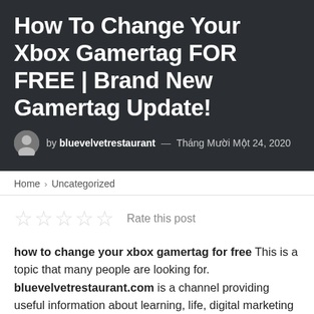How To Change Your Xbox Gamertag FOR FREE | Brand New Gamertag Update!
by bluevelvetrestaurant — Tháng Mười Một 24, 2020
Home › Uncategorized
Rate this post
how to change your xbox gamertag for free This is a topic that many people are looking for. bluevelvetrestaurant.com is a channel providing useful information about learning, life, digital marketing and online courses …. it will help you have an overview and solid multi-faceted knowledge . Today, bluevelvetrestaurant.com would like to introduce to you